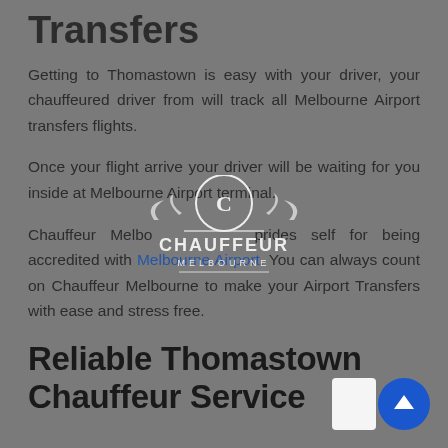Transfers
Getting to Thomastown is easy with your driver, your chauffeured driver from will track all Melbourne Airport transfers flights.
Once your flight arrive your driver will be waiting for you inside at Melbourne Airport terminal.
Chauffeur Melbourne prides self for being accredited with Melbourne Airport. You can always count on Chauffeur Melbourne to make your Airport Transfers with ease and stress free.
[Figure (logo): Chauffeur Melbourne circular logo with ornate crest and text CHAUFFEUR MELBOURNE]
Reliable Thomastown Chauffeur Service